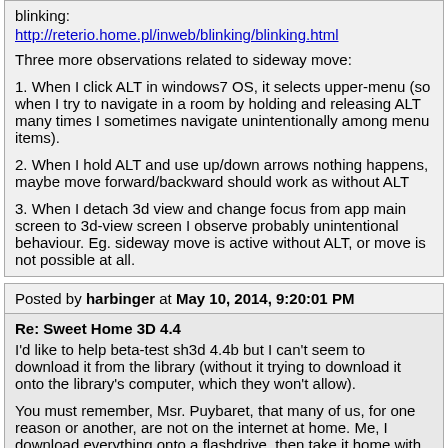blinking:
http://reterio.home.pl/inweb/blinking/blinking.html
Three more observations related to sideway move:
1. When I click ALT in windows7 OS, it selects upper-menu (so when I try to navigate in a room by holding and releasing ALT many times I sometimes navigate unintentionally among menu items).
2. When I hold ALT and use up/down arrows nothing happens, maybe move forward/backward should work as without ALT
3. When I detach 3d view and change focus from app main screen to 3d-view screen I observe probably unintentional behaviour. Eg. sideway move is active without ALT, or move is not possible at all.
Posted by harbinger at May 10, 2014, 9:20:01 PM
Re: Sweet Home 3D 4.4
I'd like to help beta-test sh3d 4.4b but I can't seem to download it from the library (without it trying to download it onto the library's computer, which they won't allow).
You must remember, Msr. Puybaret, that many of us, for one reason or another, are not on the internet at home. Me, I download everything onto a flashdrive, then take it home with me, and go thru my downloads at home.